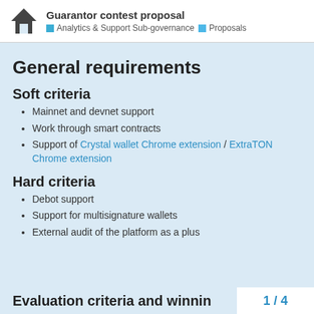Guarantor contest proposal — Analytics & Support Sub-governance — Proposals
General requirements
Soft criteria
Mainnet and devnet support
Work through smart contracts
Support of Crystal wallet Chrome extension / ExtraTON Chrome extension
Hard criteria
Debot support
Support for multisignature wallets
External audit of the platform as a plus
Evaluation criteria and winnin
1 / 4